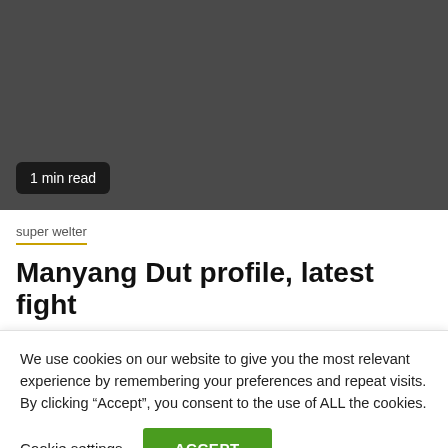[Figure (photo): Dark gray image placeholder area for article thumbnail]
1 min read
super welter
Manyang Dut profile, latest fight
We use cookies on our website to give you the most relevant experience by remembering your preferences and repeat visits. By clicking “Accept”, you consent to the use of ALL the cookies.
Cookie settings   ACCEPT